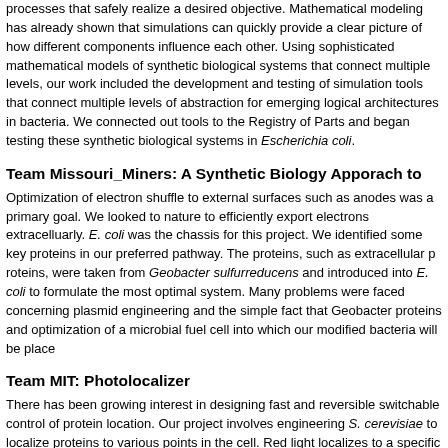processes that safely realize a desired objective. Mathematical modeling has already shown that simulations can quickly provide a clear picture of how different components influence each other. Using sophisticated mathematical models of synthetic biological systems that connect multiple levels, our work included the development and testing of simulation tools that connect multiple levels of abstraction for emerging logical architectures in bacteria. We connected out tools to the Registry of Parts and began testing these synthetic biological systems in Escherichia coli.
Team Missouri_Miners: A Synthetic Biology Apporach to
Optimization of electron shuffle to external surfaces such as anodes was a primary goal. We looked to nature to efficiently export electrons extracelluarly. E. coli was the chassis for this project. We identified some key proteins in our preferred pathway. The proteins, such as extracellular proteins, were taken from Geobacter sulfurreducens and introduced into E. coli to formulate the most optimal system. Many problems were faced concerning plasmid engineering and the simple fact that Geobacter proteins and optimization of a microbial fuel cell into which our modified bacteria will be place
Team MIT: Photolocalizer
There has been growing interest in designing fast and reversible switchable control of protein location. Our project involves engineering S. cerevisiae to localize proteins to various points in the cell. Red light localizes to a specific target, while exposure to far-red light causes the protein to delocalize. We use the PIF3 system, a light-based transcriptional regulation system found in Arabidopsis, by 1) engineering yeast to produce PCB, a tetrapyrrole necessary for system activation, and 2) adapting the system. The versatility and applications for this system are vast, ranging from cellular diffusio
Team MoWestern_Davidson: Rolling Clones: Can't get ne
Our team goal was to advance the developing field of bacterial computing. The S